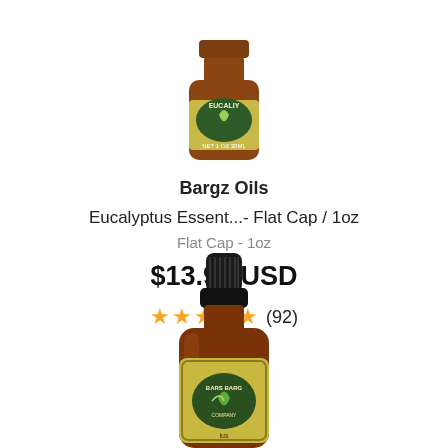[Figure (photo): Eucalyptus essential oil bottle with green label, partially cropped at top of page]
Bargz Oils
Eucalyptus Essent...- Flat Cap / 1oz
Flat Cap - 1oz
$13.99 USD
★★★★★ (92)
[Figure (photo): Amber glass essential oil bottle with black dropper cap and Bargz Oils label, partially cropped at bottom of page]